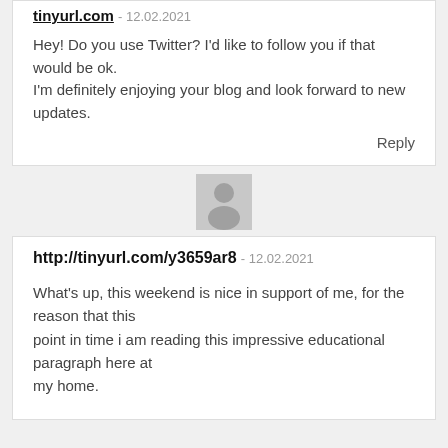tinyurl.com - 12.02.2021
Hey! Do you use Twitter? I'd like to follow you if that would be ok.
I'm definitely enjoying your blog and look forward to new updates.
Reply
[Figure (illustration): Generic user avatar icon, gray silhouette of a person on light gray background]
http://tinyurl.com/y3659ar8 - 12.02.2021
What's up, this weekend is nice in support of me, for the reason that this point in time i am reading this impressive educational paragraph here at my home.